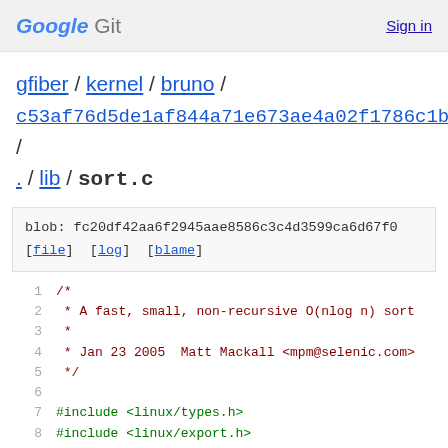Google Git   Sign in
gfiber / kernel / bruno / c53af76d5de1af844a71e673ae4a02f1786c1b9c / . / lib / sort.c
blob: fc20df42aa6f2945aae8586c3c4d3599ca6d67f0 [file] [log] [blame]
1   /*
2    * A fast, small, non-recursive O(nlog n) sort
3    *
4    * Jan 23 2005  Matt Mackall <mpm@selenic.com>
5    */
6
7   #include <linux/types.h>
8   #include <linux/export.h>
9   #include <linux/sort.h>
10